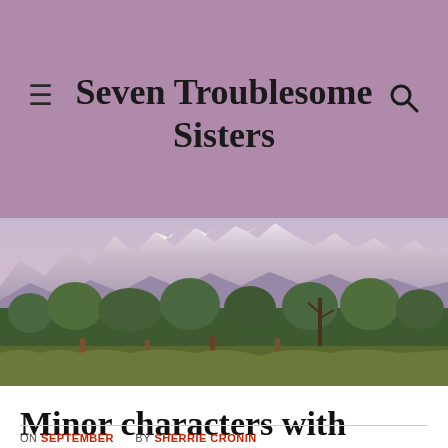Seven Troublesome Sisters
[Figure (photo): Landscape panorama showing snow-capped mountains in the background with green trees and scrubby vegetation in the foreground, fence posts visible, taken at dusk or dawn with soft purple-pink light on the mountains.]
Minor characters with major ambitions
ON SEPTEMBER [date] BY SHERRIE CRONIN